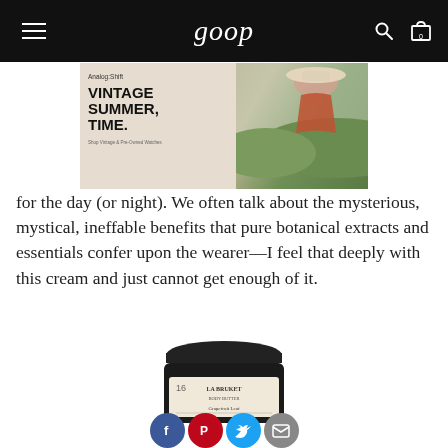goop
[Figure (photo): Advertisement banner for Analog:Shift showing 'VINTAGE SUMMER, TIME.' text with a woman in a wide-brim hat in a summer field]
for the day (or night). We often talk about the mysterious, mystical, ineffable benefits that pure botanical extracts and essentials confer upon the wearer—I feel that deeply with this cream and just cannot get enough of it.
[Figure (photo): Product photo of La Bruket body butter jar in dark glass with 'Grapefruit Leaf' label, with social sharing buttons overlaid (Facebook, Pinterest, Twitter, Google+, Email)]